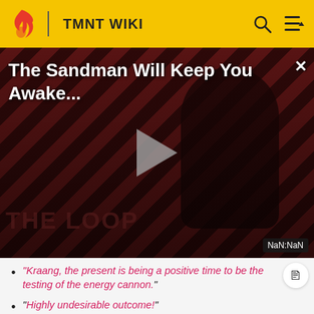TMNT WIKI
[Figure (screenshot): Video player thumbnail showing 'The Sandman Will Keep You Awake...' with a dark striped background, a figure silhouette, a play button, and 'THE LOOP' text. Timer shows NaN:NaN.]
"Kraang, the present is being a positive time to be the testing of the energy cannon."
"Highly undesirable outcome!"
"That which is known as access is now granted to kraang."